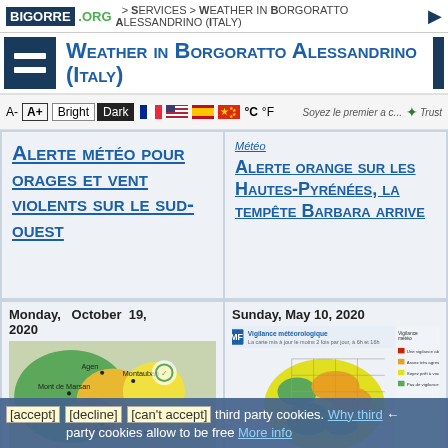BIGORRE.ORG > Services > Weather in Borgoratto Alessandrino (Italy)
Weather in Borgoratto Alessandrino (Italy)
A- A+ Bright Dark °C °F  Soyez le premier a ... Trust
Météo
Alerte météo pour orages et vent violents sur le sud-ouest
Alerte orange sur les Hautes-Pyrénées, la tempête Barbara arrive
Monday, October 19, 2020
[Figure (map): Weather map of southwest France showing vigilance levels by department, green/orange/yellow colors]
Sunday, May 10, 2020
[Figure (map): Vigilance météorologique map of France with yellow, green, orange regions and legend]
[accept] [decline] [can't accept] third party cookies. Why third party cookies allow to be free More info